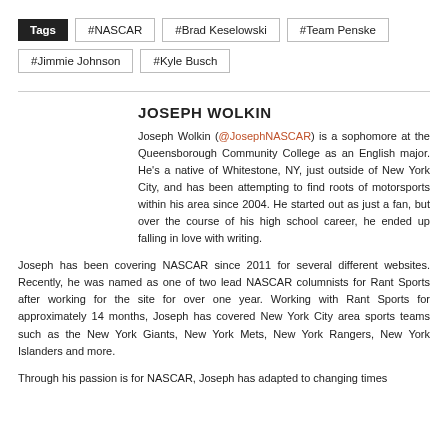Tags #NASCAR #Brad Keselowski #Team Penske #Jimmie Johnson #Kyle Busch
JOSEPH WOLKIN
Joseph Wolkin (@JosephNASCAR) is a sophomore at the Queensborough Community College as an English major. He’s a native of Whitestone, NY, just outside of New York City, and has been attempting to find roots of motorsports within his area since 2004. He started out as just a fan, but over the course of his high school career, he ended up falling in love with writing.
Joseph has been covering NASCAR since 2011 for several different websites. Recently, he was named as one of two lead NASCAR columnists for Rant Sports after working for the site for over one year. Working with Rant Sports for approximately 14 months, Joseph has covered New York City area sports teams such as the New York Giants, New York Mets, New York Rangers, New York Islanders and more.
Through his passion is for NASCAR, Joseph has adapted to changing times